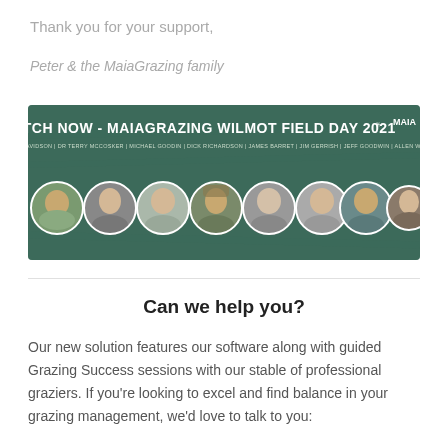Thank you for your support,
Peter & the MaiaGrazing family
[Figure (photo): Promotional banner for MaiaGrazing Wilmot Field Day 2021 showing 8 circular portrait photos of speakers including Bart Davidson, Dr Terry McCosker, Michael Goodin, Dick Richardson, James Barret, Jim Gerrish, Jeff Goodwin, Allen Williams, with text 'WATCH NOW - MAIAGRAZING WILMOT FIELD DAY 2021' and Maia logo on a dark teal/nature background.]
Can we help you?
Our new solution features our software along with guided Grazing Success sessions with our stable of professional graziers. If you're looking to excel and find balance in your grazing management, we'd love to talk to you: